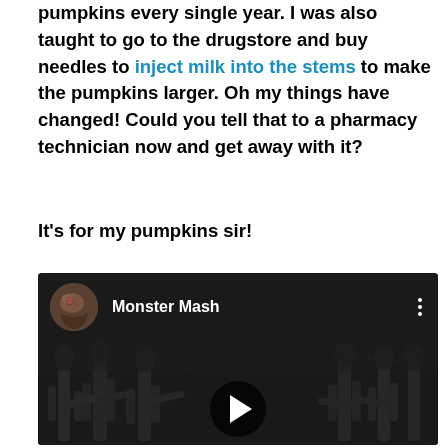pumpkins every single year. I was also taught to go to the drugstore and buy needles to inject milk into the stems to make the pumpkins larger. Oh my things have changed! Could you tell that to a pharmacy technician now and get away with it?
It's for my pumpkins sir!
[Figure (screenshot): YouTube video embed showing 'Monster Mash' with a zombie avatar thumbnail, play button overlay, and dark background with skeletal figures]